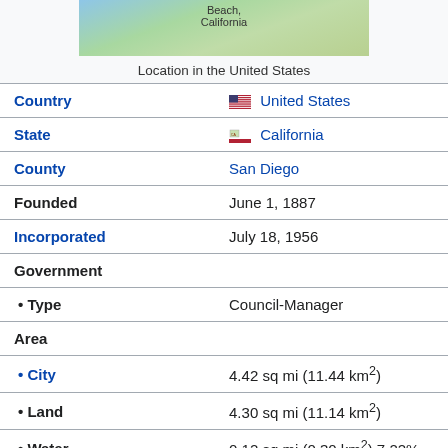[Figure (map): Map showing location of Solana Beach, California in the United States]
Location in the United States
| Field | Value |
| --- | --- |
| Country | United States |
| State | California |
| County | San Diego |
| Founded | June 1, 1887 |
| Incorporated | July 18, 1956 |
| Government |  |
| • Type | Council-Manager |
| Area |  |
| • City | 4.42 sq mi (11.44 km²) |
| • Land | 4.30 sq mi (11.14 km²) |
| • Water | 0.12 sq mi (0.30 km²)  7.22% |
| Elevation | 20 ft (6 m) |